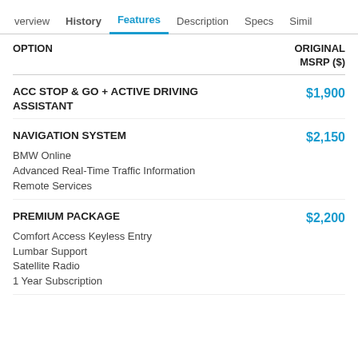verview  History  Features  Description  Specs  Simil
| OPTION | ORIGINAL MSRP ($) |
| --- | --- |
| ACC STOP & GO + ACTIVE DRIVING ASSISTANT | $1,900 |
| NAVIGATION SYSTEM
BMW Online
Advanced Real-Time Traffic Information
Remote Services | $2,150 |
| PREMIUM PACKAGE
Comfort Access Keyless Entry
Lumbar Support
Satellite Radio
1 Year Subscription | $2,200 |